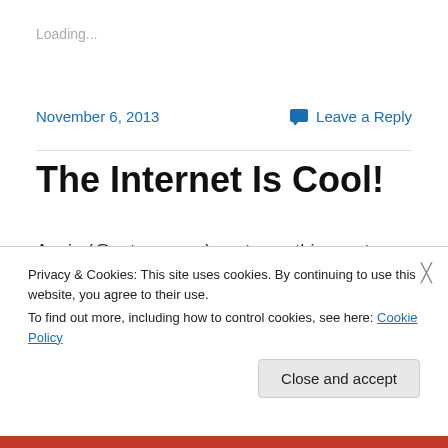Loading...
November 6, 2013
Leave a Reply
The Internet Is Cool!
Annie (@sotomorrow) sent over this great Body Positive Storytime from Liz (@lizinthelibrary) (who I think I maybe met in a bar at ALA2010? Did that happen?) There's a lot I
Privacy & Cookies: This site uses cookies. By continuing to use this website, you agree to their use.
To find out more, including how to control cookies, see here: Cookie Policy
Close and accept